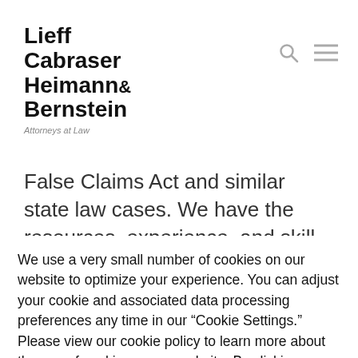Lieff Cabraser Heimann & Bernstein — Attorneys at Law
False Claims Act and similar state law cases. We have the resources, experience, and skill to appropriately investigate even the largest and most complex matters and take them all the way through trial. Learn more
We use a very small number of cookies on our website to optimize your experience. You can adjust your cookie and associated data processing preferences any time in our “Cookie Settings.” Please view our cookie policy to learn more about the use of cookies on our website. By clicking “Accept”, you consent to the use of these cookies.
Do not sell my personal information
Cookie Policy   Cookie Settings   ACCEPT